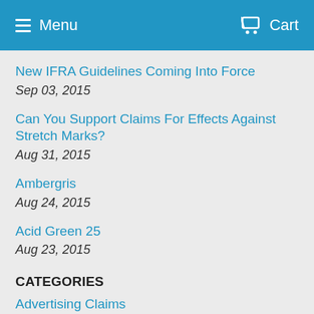Menu  Cart
New IFRA Guidelines Coming Into Force
Sep 03, 2015
Can You Support Claims For Effects Against Stretch Marks?
Aug 31, 2015
Ambergris
Aug 24, 2015
Acid Green 25
Aug 23, 2015
CATEGORIES
Advertising Claims
Cosmetic Colours
EU Cosmetic Regulations
Food Imitation
Fragrances